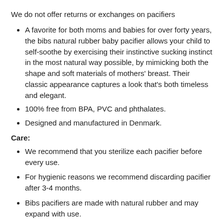We do not offer returns or exchanges on pacifiers
A favorite for both moms and babies for over forty years, the bibs natural rubber baby pacifier allows your child to self-soothe by exercising their instinctive sucking instinct in the most natural way possible, by mimicking both the shape and soft materials of mothers' breast. Their classic appearance captures a look that's both timeless and elegant.
100% free from BPA, PVC and phthalates.
Designed and manufactured in Denmark.
Care:
We recommend that you sterilize each pacifier before every use.
For hygienic reasons we recommend discarding pacifier after 3-4 months.
Bibs pacifiers are made with natural rubber and may expand with use.